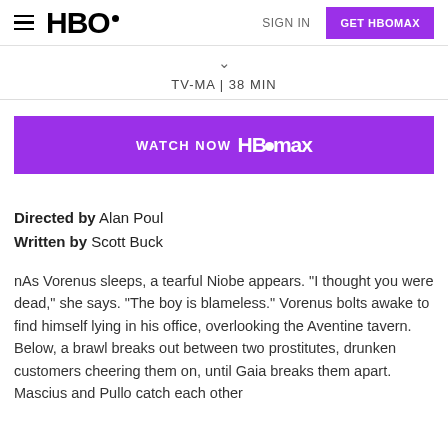HBO — SIGN IN — GET HBOMAX
TV-MA | 38 MIN
[Figure (screenshot): WATCH NOW HBO max button — purple/violet rounded rectangle button with white text]
Directed by Alan Poul
Written by Scott Buck
nAs Vorenus sleeps, a tearful Niobe appears. "I thought you were dead," she says. "The boy is blameless." Vorenus bolts awake to find himself lying in his office, overlooking the Aventine tavern. Below, a brawl breaks out between two prostitutes, drunken customers cheering them on, until Gaia breaks them apart. Mascius and Pullo catch each other